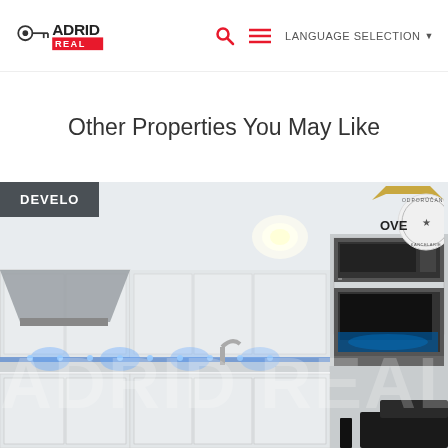ADRID REAL — Logo, search icon, menu icon, LANGUAGE SELECTION
Other Properties You May Like
[Figure (photo): Interior photo of a modern white kitchen with blue LED under-cabinet lighting, built-in microwave and oven, labeled DEVELO in top-left badge, and an OVERENO circular seal in the top-right corner. A semi-transparent watermark reads ADRID REAL across the image.]